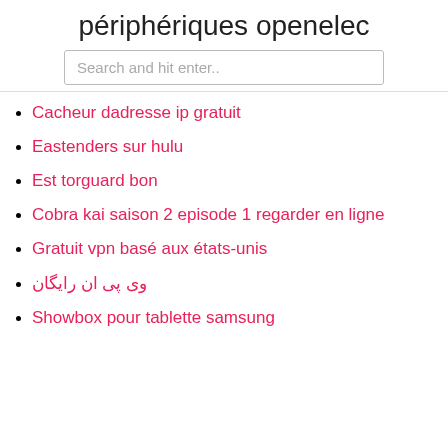périphériques openelec
Cacheur dadresse ip gratuit
Eastenders sur hulu
Est torguard bon
Cobra kai saison 2 episode 1 regarder en ligne
Gratuit vpn basé aux états-unis
وی پی ان رایگان
Showbox pour tablette samsung